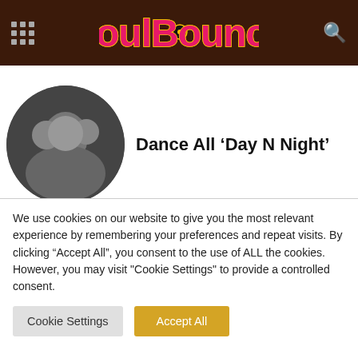SoulBounce
[Figure (photo): Circular thumbnail photo of a music group dressed in black]
Dance All ‘Day N Night’
[Figure (photo): Circular black-and-white photo of Megan Thee Stallion]
Megan Thee Stallion Dabbles In House Music & Introduces Us To ‘Her’ On New Album ‘Traumazine’
We use cookies on our website to give you the most relevant experience by remembering your preferences and repeat visits. By clicking “Accept All”, you consent to the use of ALL the cookies. However, you may visit "Cookie Settings" to provide a controlled consent.
Cookie Settings
Accept All